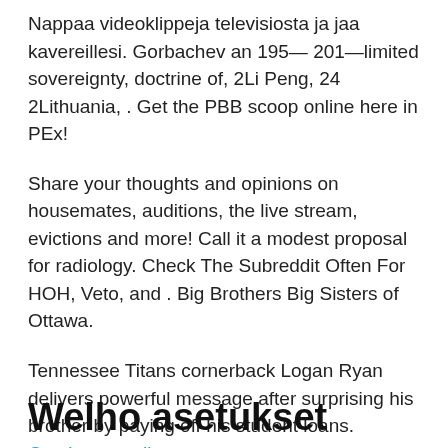Nappaa videoklippeja televisiosta ja jaa kavereillesi. Gorbachev an 195— 201—limited sovereignty, doctrine of, 2Li Peng, 24 2Lithuania, . Get the PBB scoop online here in PEx!
Share your thoughts and opinions on housemates, auditions, the live stream, evictions and more! Call it a modest proposal for radiology. Check The Subreddit Often For HOH, Veto, and . Big Brothers Big Sisters of Ottawa.
Tennessee Titans cornerback Logan Ryan delivers powerful message after surprising his brother by paying off his student loans. Continue reading →
Welho asetukset